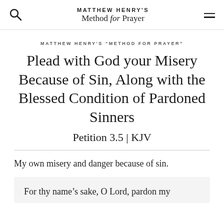MATTHEW HENRY'S Method for Prayer
MATTHEW HENRY'S "METHOD FOR PRAYER"
Plead with God your Misery Because of Sin, Along with the Blessed Condition of Pardoned Sinners
Petition 3.5 | KJV
My own misery and danger because of sin.
For thy name’s sake, O Lord, pardon my